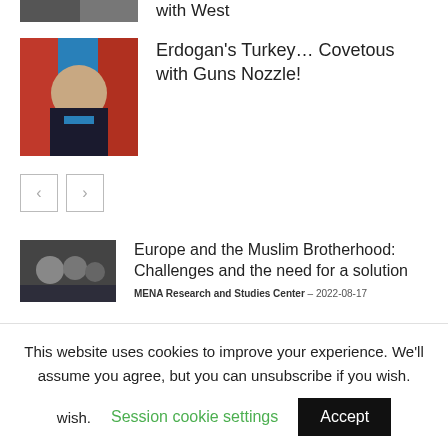[Figure (photo): Partial thumbnail image at top of page]
with West
[Figure (photo): Photo of Erdogan with Turkish and Russian flags]
Erdogan's Turkey... Covetous with Guns Nozzle!
[Figure (other): Pagination controls with left and right arrows]
[Figure (photo): Photo related to Muslim Brotherhood article]
Europe and the Muslim Brotherhood: Challenges and the need for a solution
MENA Research and Studies Center  -  2022-08-17
[Figure (photo): Photo related to Salman assassination attempt article]
The assassination attempt of Salman
This website uses cookies to improve your experience. We'll assume you agree, but you can unsubscribe if you wish.
Session cookie settings
Accept